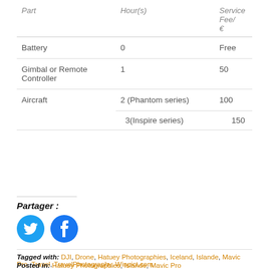| Part | Hour(s) | Service Fee/ € |
| --- | --- | --- |
| Battery | 0 | Free |
| Gimbal or Remote Controller | 1 | 50 |
| Aircraft | 2 (Phantom series) | 100 |
|  | 3(Inspire series) | 150 |
Partager :
[Figure (other): Twitter and Facebook social sharing icons (circular blue buttons)]
Tagged with: DJI, Drone, Hatuey Photographies, Iceland, Islande, Mavic Pro, Travel, TravelPhotography, Winpict.com
Posted in: Hatuey Photographies, Islande, Mavic Pro